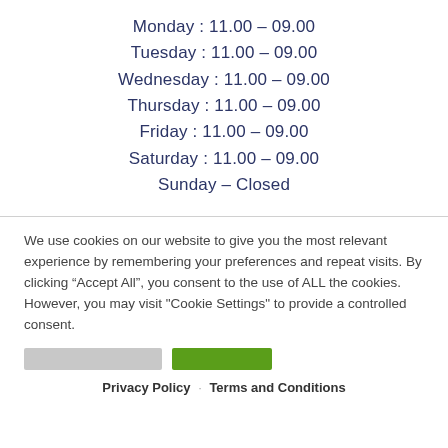Monday : 11.00 – 09.00
Tuesday : 11.00 – 09.00
Wednesday : 11.00 – 09.00
Thursday : 11.00 – 09.00
Friday : 11.00 – 09.00
Saturday : 11.00 – 09.00
Sunday – Closed
We use cookies on our website to give you the most relevant experience by remembering your preferences and repeat visits. By clicking “Accept All”, you consent to the use of ALL the cookies. However, you may visit "Cookie Settings" to provide a controlled consent.
Privacy Policy · Terms and Conditions